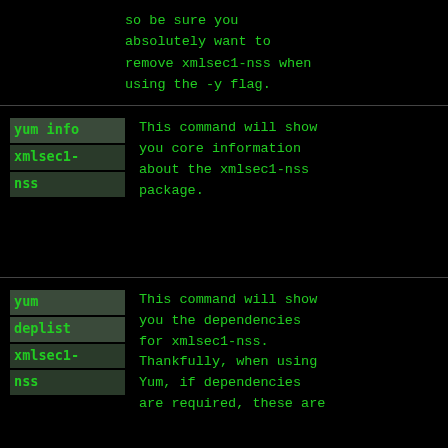so be sure you absolutely want to remove xmlsec1-nss when using the -y flag.
| Command | Description |
| --- | --- |
| yum info xmlsec1-nss | This command will show you core information about the xmlsec1-nss package. |
| yum deplist xmlsec1-nss | This command will show you the dependencies for xmlsec1-nss. Thankfully, when using Yum, if dependencies are required, these are |